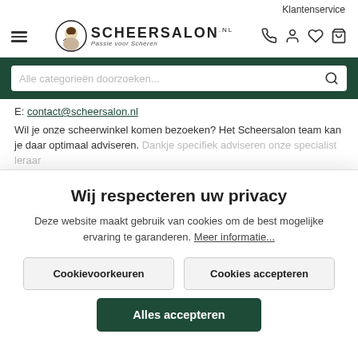Klantenservice
[Figure (logo): Scheersalon logo with circular portrait icon, brand name SCHEERSALON.nl and tagline 'Passie voor Scheren']
E: contact@scheersalon.nl
Wil je onze scheerwinkel komen bezoeken? Het Scheersalon team kan je daar optimaal adviseren. Dankje specifiek adviseren onze specialist leraar...
Wij respecteren uw privacy
Deze website maakt gebruik van cookies om de best mogelijke ervaring te garanderen. Meer informatie...
Cookievoorkeuren
Cookies accepteren
Alles accepteren